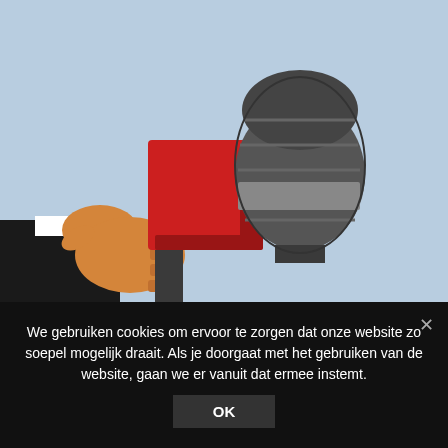[Figure (illustration): Cartoon illustration of a hand in a dark suit sleeve holding a red microphone with a grey mesh top, against a light blue background.]
We gebruiken cookies om ervoor te zorgen dat onze website zo soepel mogelijk draait. Als je doorgaat met het gebruiken van de website, gaan we er vanuit dat ermee instemt.
OK